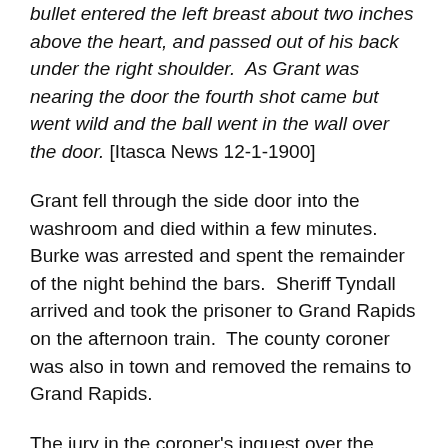bullet entered the left breast about two inches above the heart, and passed out of his back under the right shoulder.  As Grant was nearing the door the fourth shot came but went wild and the ball went in the wall over the door. [Itasca News 12-1-1900]
Grant fell through the side door into the washroom and died within a few minutes.  Burke was arrested and spent the remainder of the night behind the bars.  Sheriff Tyndall arrived and took the prisoner to Grand Rapids on the afternoon train.  The county coroner was also in town and removed the remains to Grand Rapids.
The jury in the coroner's inquest over the remains of Charles Grant returned the verdict Tuesday that Grant was killed by a bullet from a gun discharged by Patrick Burke.
Burke's preliminary hearing in justice court was set for Thursday December 6th, but he waived examination and